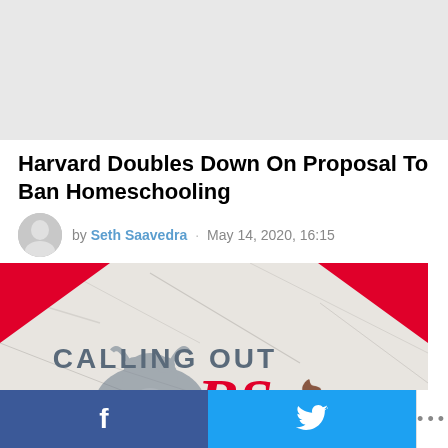[Figure (other): Advertisement banner placeholder area, light gray background]
Harvard Doubles Down On Proposal To Ban Homeschooling
by Seth Saavedra · May 14, 2020, 16:15
[Figure (photo): Article featured image showing crumpled paper background with red corner accents, gray bull/cow illustration, and text reading CALLING OUT BS with a poop emoji]
Facebook share button · Twitter share button · More options (...)